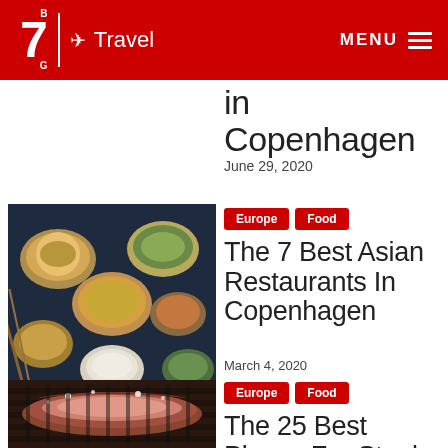Big 7 Travel — MENU
in Copenhagen
June 29, 2020
[Figure (photo): Aerial view of Asian food dishes in bowls on a dark table]
Europe  Food
The 7 Best Asian Restaurants In Copenhagen
March 4, 2020
[Figure (photo): Close-up of grilled steak with seasoning on a grill]
Europe  Food
The 25 Best Places For Steak In Denmark